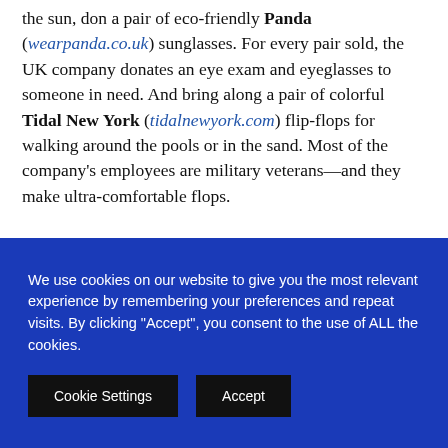the sun, don a pair of eco-friendly Panda (wearpanda.co.uk) sunglasses. For every pair sold, the UK company donates an eye exam and eyeglasses to someone in need. And bring along a pair of colorful Tidal New York (tidalnewyork.com) flip-flops for walking around the pools or in the sand. Most of the company's employees are military veterans—and they make ultra-comfortable flops.
Getting There
It's a four-hour direct flight from Charlotte to San Juan, and just a half-hour drive to the hotel. Plus, since Puerto Rico is a U.S. territory,
We use cookies on our website to give you the most relevant experience by remembering your preferences and repeat visits. By clicking "Accept", you consent to the use of ALL the cookies.
Cookie Settings
Accept